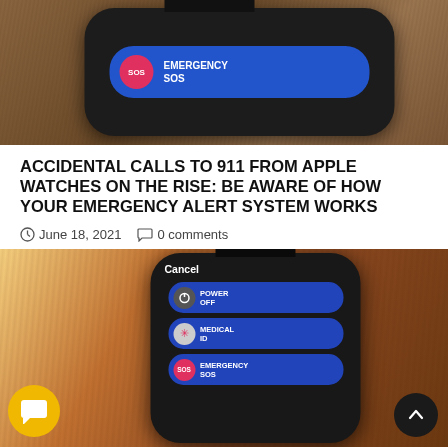[Figure (photo): Photo of an Apple Watch on a wooden surface showing Emergency SOS button in blue with SOS circle icon]
ACCIDENTAL CALLS TO 911 FROM APPLE WATCHES ON THE RISE: BE AWARE OF HOW YOUR EMERGENCY ALERT SYSTEM WORKS
June 18, 2021   0 comments
[Figure (photo): Photo of Apple Watch on wooden surface showing Cancel screen with Power Off, Medical ID, and Emergency SOS buttons]